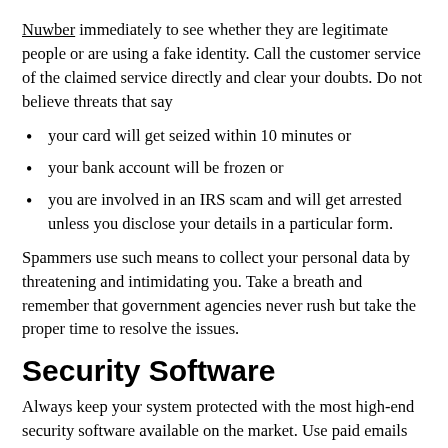Nuwber immediately to see whether they are legitimate people or are using a fake identity. Call the customer service of the claimed service directly and clear your doubts. Do not believe threats that say
your card will get seized within 10 minutes or
your bank account will be frozen or
you are involved in an IRS scam and will get arrested unless you disclose your details in a particular form.
Spammers use such means to collect your personal data by threatening and intimidating you. Take a breath and remember that government agencies never rush but take the proper time to resolve the issues.
Security Software
Always keep your system protected with the most high-end security software available on the market. Use paid emails for